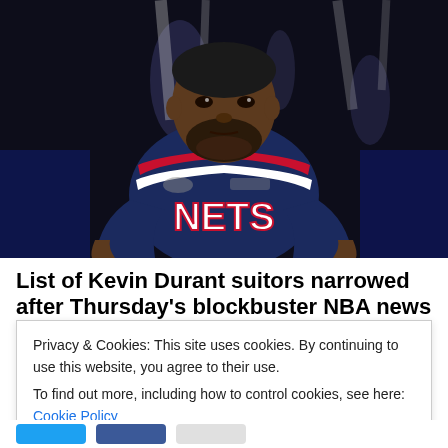[Figure (photo): Kevin Durant in Brooklyn Nets navy blue jersey with NETS lettering, looking upward, arena lights in background]
List of Kevin Durant suitors narrowed after Thursday's blockbuster NBA news
Privacy & Cookies: This site uses cookies. By continuing to use this website, you agree to their use.
To find out more, including how to control cookies, see here: Cookie Policy
Close and accept